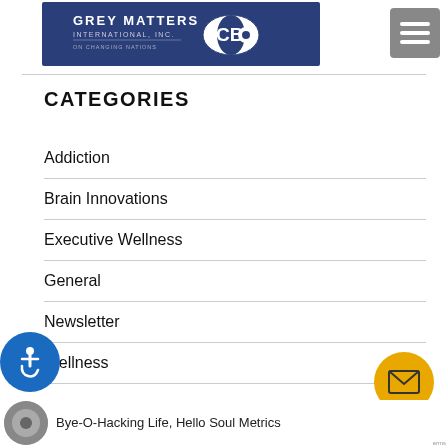[Figure (logo): Grey Matters International Inc. and CBS logos on navy blue background]
[Figure (other): Hamburger menu button (three horizontal lines) grey square]
CATEGORIES
Addiction
Brain Innovations
Executive Wellness
General
Newsletter
Wellness
[Figure (illustration): Accessibility wheelchair icon button (blue circle)]
[Figure (illustration): Mail/envelope icon button (yellow/gold circle)]
Bye-O-Hacking Life, Hello Soul Metrics